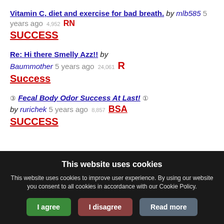Vitamin C, diet and exercise for bad breath. by mlb585 5 years ago 4,952 RN SUCCESS
Re: Hi there Smelly Azz!! by Baummother 5 years ago 24,061 R Success
[3] Fecal Body Odor Success At Last! [1] by rurichek 5 years ago 8,857 BSA SUCCESS
This website uses cookies
This website uses cookies to improve user experience. By using our website you consent to all cookies in accordance with our Cookie Policy.